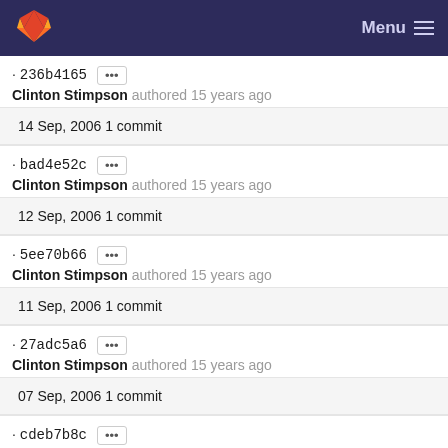Menu
· 236b4165 ••• Clinton Stimpson authored 15 years ago
14 Sep, 2006 1 commit
· bad4e52c ••• Clinton Stimpson authored 15 years ago
12 Sep, 2006 1 commit
· 5ee70b66 ••• Clinton Stimpson authored 15 years ago
11 Sep, 2006 1 commit
· 27adc5a6 ••• Clinton Stimpson authored 15 years ago
07 Sep, 2006 1 commit
· cdeb7b8c